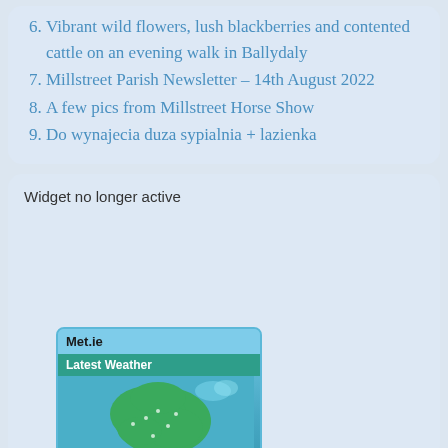6. Vibrant wild flowers, lush blackberries and contented cattle on an evening walk in Ballydaly
7. Millstreet Parish Newsletter - 14th August 2022
8. A few pics from Millstreet Horse Show
9. Do wynajecia duza sypialnia + lazienka
Widget no longer active
[Figure (screenshot): Met.ie weather widget showing 'Latest Weather' header with a map of Ireland with green landmass on blue ocean background]